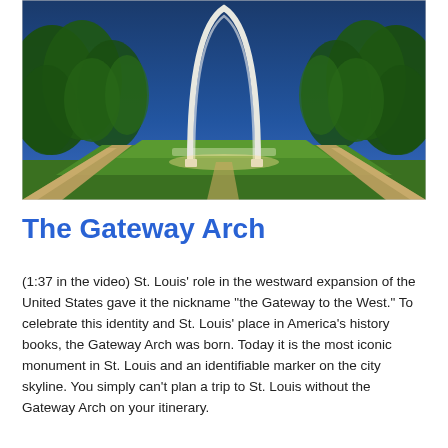[Figure (photo): Photograph of the Gateway Arch in St. Louis at dusk/night, lit up against a deep blue sky, with a wide grassy lawn and pathways leading toward it, flanked by green trees on both sides.]
The Gateway Arch
(1:37 in the video) St. Louis' role in the westward expansion of the United States gave it the nickname “the Gateway to the West.” To celebrate this identity and St. Louis’ place in America’s history books, the Gateway Arch was born. Today it is the most iconic monument in St. Louis and an identifiable marker on the city skyline. You simply can’t plan a trip to St. Louis without the Gateway Arch on your itinerary.